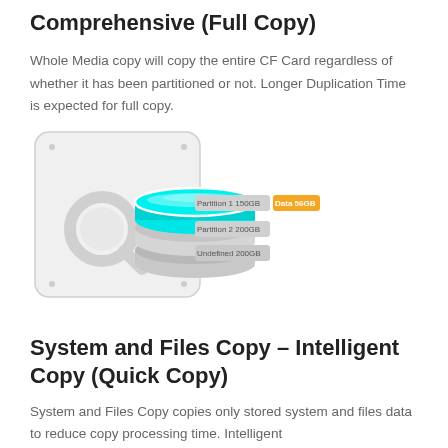Comprehensive (Full Copy)
Whole Media copy will copy the entire CF Card regardless of whether it has been partitioned or not. Longer Duplication Time is expected for full copy.
[Figure (illustration): Diagram showing a CF card with a cyan/teal disk on top representing Partition 1 (150GB) with an orange Data 56GB label, and gray disk layers below labeled Partition 2 (200GB) and Undefined (200GB). A magnifying glass icon is overlaid on the card.]
System and Files Copy – Intelligent Copy (Quick Copy)
System and Files Copy copies only stored system and files data to reduce copy processing time. Intelligent